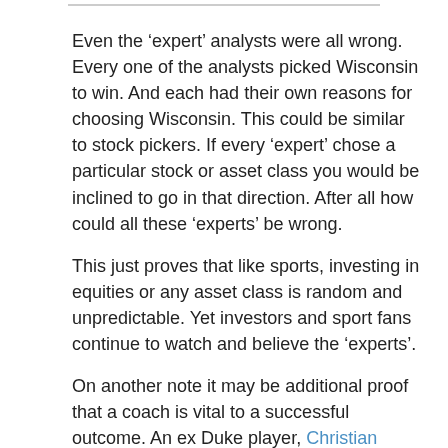Even the ‘expert’ analysts were all wrong. Every one of the analysts picked Wisconsin to win. And each had their own reasons for choosing Wisconsin. This could be similar to stock pickers. If every ‘expert’ chose a particular stock or asset class you would be inclined to go in that direction. After all how could all these ‘experts’ be wrong.
This just proves that like sports, investing in equities or any asset class is random and unpredictable. Yet investors and sport fans continue to watch and believe the ‘experts’.
On another note it may be additional proof that a coach is vital to a successful outcome. An ex Duke player, Christian Laettner, when asked prior to the game, what Duke needed to do to win. He stated listen to your coach. And do whatever he tells you.
Investors should follow this same advice. Find an investor coach/fiduciary adviser and listen to them. It is during times of great stress that we make emotional decisions. Your coach will keep you grounded and keep you focused on your plan.
As a Badger fan, I am disappointed in the results of last night’s